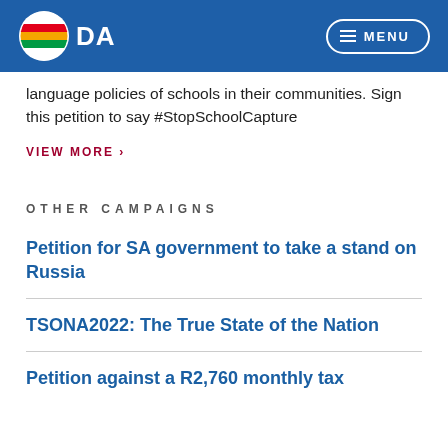[Figure (logo): DA (Democratic Alliance) logo with colored flag stripes inside a circle, beside 'DA' text in white, on a blue navigation bar with a MENU button on the right]
language policies of schools in their communities. Sign this petition to say #StopSchoolCapture
VIEW MORE ›
OTHER CAMPAIGNS
Petition for SA government to take a stand on Russia
TSONA2022: The True State of the Nation
Petition against a R2,760 monthly tax